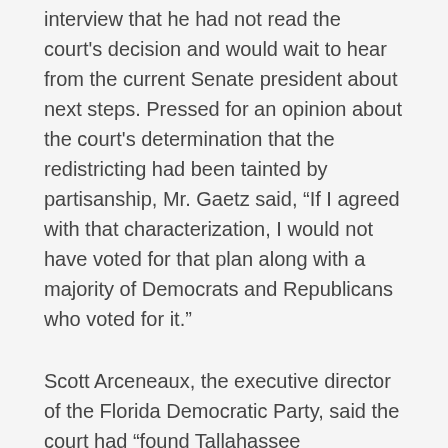interview that he had not read the court's decision and would wait to hear from the current Senate president about next steps. Pressed for an opinion about the court's determination that the redistricting had been tainted by partisanship, Mr. Gaetz said, “If I agreed with that characterization, I would not have voted for that plan along with a majority of Democrats and Republicans who voted for it.”
Scott Arceneaux, the executive director of the Florida Democratic Party, said the court had “found Tallahassee Republicans guilty of unconstitutionally subverting Florida’s democracy” and creating an “unconstitutional mess.”
In a statement released by his office, Mr.